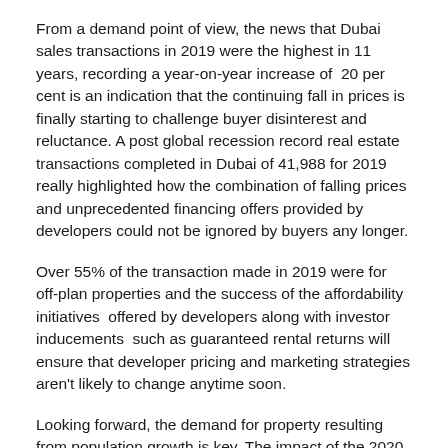From a demand point of view, the news that Dubai sales transactions in 2019 were the highest in 11 years, recording a year-on-year increase of 20 per cent is an indication that the continuing fall in prices is finally starting to challenge buyer disinterest and reluctance. A post global recession record real estate transactions completed in Dubai of 41,988 for 2019 really highlighted how the combination of falling prices and unprecedented financing offers provided by developers could not be ignored by buyers any longer.
Over 55% of the transaction made in 2019 were for off-plan properties and the success of the affordability initiatives offered by developers along with investor inducements such as guaranteed rental returns will ensure that developer pricing and marketing strategies aren't likely to change anytime soon.
Looking forward, the demand for property resulting from population growth is key. The impact of the 2020 Expo on population growth will be significant as human resources are recruited into the Emirate specifically for the Expo itself and for the increased economic activity that will emanate from hosting the event.
Foreign investment will continue to be a major demand driver for the